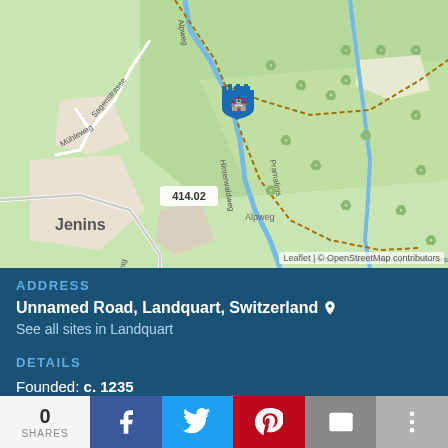[Figure (map): OpenStreetMap showing the area around Jenins, Landquart, Switzerland. A castle/fortification marker is pinned in the upper-center area of the map. Trails (Alpweg, Mühleweg, Sagenstrasse, Fanalweg, Verduonig, Hinterwaldweg, Pramalinis) and the village of Jenins are visible. Elevation label 414.02 shown near center-left.]
ADDRESS
Unnamed Road, Landquart, Switzerland 📍
See all sites in Landquart
DETAILS
Founded: c. 1235
Category: Castles and fortifications in Switzerland